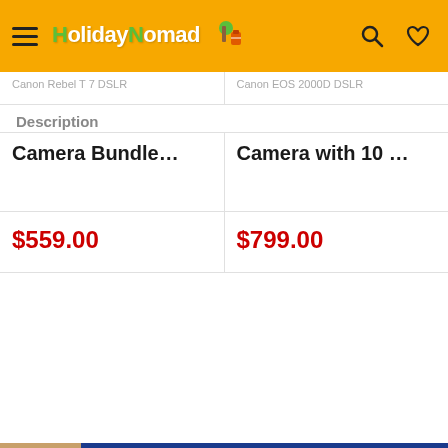HolidayNomad
Description
Camera Bundle...
$559.00
Camera with 10 ...
$799.00
$899.00
BUY NOW